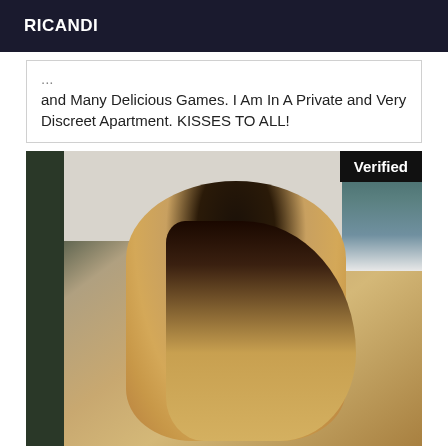RICANDI
...and Many Delicious Games. I Am In A Private and Very Discreet Apartment. KISSES TO ALL!
[Figure (photo): Person photographed from behind in an indoor setting. A 'Verified' badge appears in the top-right corner of the image.]